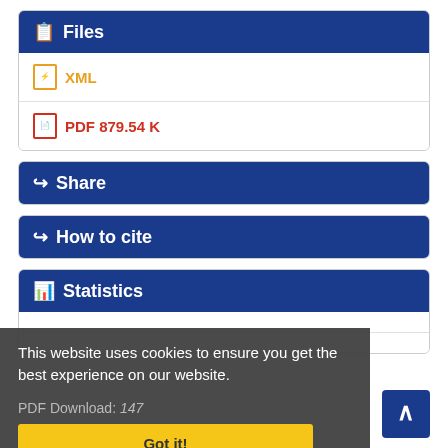Files
XML
PDF 879.54 K
Share
How to cite
Statistics
This website uses cookies to ensure you get the best experience on our website.
PDF Download: 147
Got it!